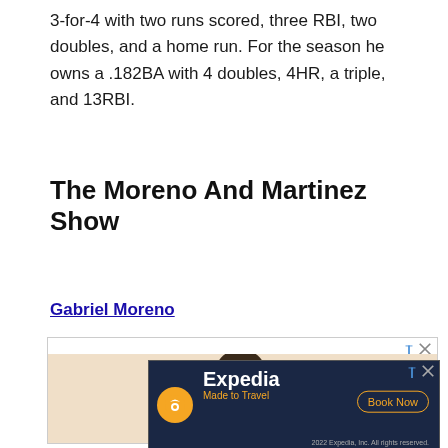3-for-4 with two runs scored, three RBI, two doubles, and a home run. For the season he owns a .182BA with 4 doubles, 4HR, a triple, and 13RBI.
The Moreno And Martinez Show
Gabriel Moreno
[Figure (photo): Photo of a person's head with an orange circle element, partially visible, above an Expedia advertisement banner.]
[Figure (infographic): Expedia advertisement: 'Expedia - Made to Travel - Book Now' with yellow logo, dark navy background, and 2022 copyright footer.]